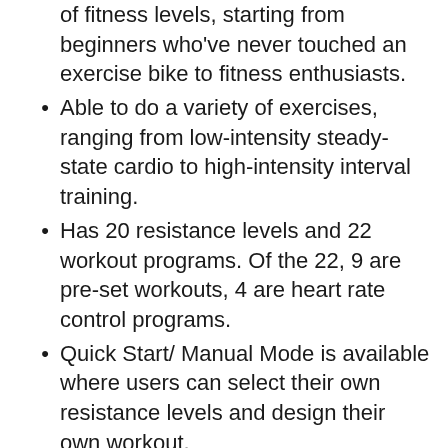of fitness levels, starting from beginners who've never touched an exercise bike to fitness enthusiasts.
Able to do a variety of exercises, ranging from low-intensity steady-state cardio to high-intensity interval training.
Has 20 resistance levels and 22 workout programs. Of the 22, 9 are pre-set workouts, 4 are heart rate control programs.
Quick Start/ Manual Mode is available where users can select their own resistance levels and design their own workout.
Contact Heart Rate Sensors available on handlebar grips to easily transmit heart rate information to the console